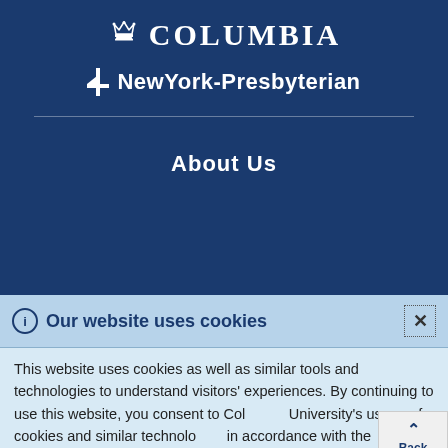[Figure (logo): Columbia University crown logo with text COLUMBIA in white serif uppercase letters on dark blue background]
[Figure (logo): NewYork-Presbyterian logo with arrow/cross icon and bold sans-serif text on dark blue background]
About Us
Our website uses cookies
This website uses cookies as well as similar tools and technologies to understand visitors' experiences. By continuing to use this website, you consent to Columbia University's usage of cookies and similar technologies in accordance with the Columbia University Website Cookie Notice.